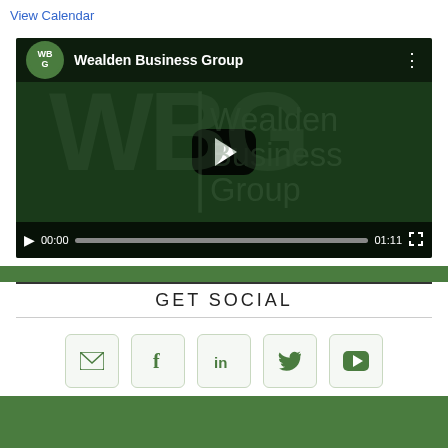View Calendar
[Figure (screenshot): YouTube embedded video player showing Wealden Business Group channel. Dark green background with WBG logo and watermark text. Video controls show 00:00 / 01:11.]
GET SOCIAL
[Figure (infographic): Row of 5 social media icon buttons: email (envelope), Facebook (f), LinkedIn (in), Twitter (bird), YouTube (play button). Icons are green on light background with rounded-square borders.]